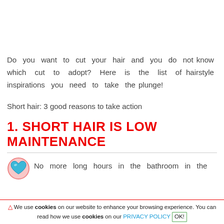Do you want to cut your hair and you do not know which cut to adopt? Here is the list of hairstyle inspirations you need to take the plunge!
Short hair: 3 good reasons to take action
1. SHORT HAIR IS LOW MAINTENANCE
[Figure (illustration): Blue heart icon with pink/red circular border]
No more long hours in the bathroom in the
⚠ We use cookies on our website to enhance your browsing experience. You can read how we use cookies on our PRIVACY POLICY OK!